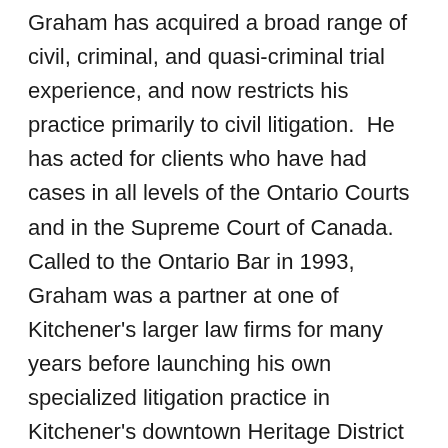Graham has acquired a broad range of civil, criminal, and quasi-criminal trial experience, and now restricts his practice primarily to civil litigation. He has acted for clients who have had cases in all levels of the Ontario Courts and in the Supreme Court of Canada. Called to the Ontario Bar in 1993, Graham was a partner at one of Kitchener's larger law firms for many years before launching his own specialized litigation practice in Kitchener's downtown Heritage District before joining the Lerners firm in October 2020.
Graham's litigation and insurance experience includes automobile, property and casualty,